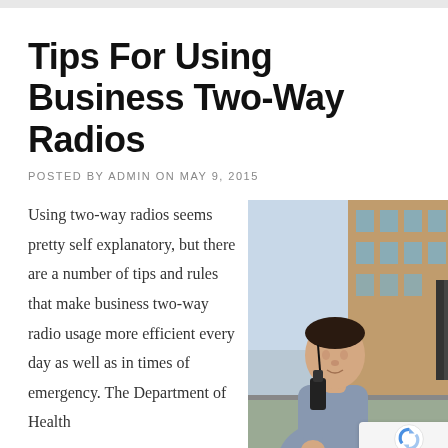Tips For Using Business Two-Way Radios
POSTED BY ADMIN ON MAY 9, 2015
Using two-way radios seems pretty self explanatory, but there are a number of tips and rules that make business two-way radio usage more efficient every day as well as in times of emergency. The Department of Health
[Figure (photo): A man in a grey polo shirt holding a walkie-talkie/two-way radio up to his mouth, standing outdoors in front of a brick building. A reCAPTCHA privacy badge is overlaid in the bottom-right corner.]